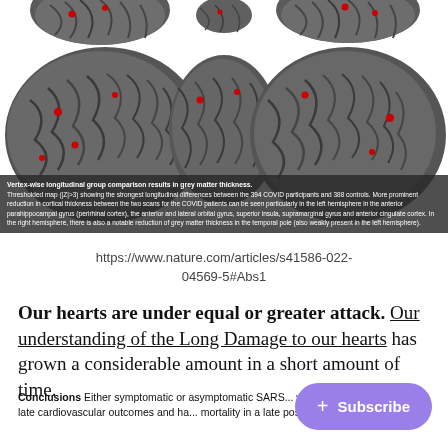[Figure (photo): Brain scan images showing vertex-wise longitudinal group comparison results in grey matter thickness, with red highlighted areas indicating differences between COVID and control groups. Dark grey brain surface renders shown from multiple angles.]
Vertex-wise longitudinal group comparison results in grey matter thickness. Thresholded map (|Z|>3) showing the strongest longitudinal differences between the 394 COVID participants and 388 controls. More prominent reduction in cortical thickness between the two scans for the COVID patients can be seen particularly in the left hemisphere in the anterior parahippocampal gyrus (perirhinal cortex), the anterior and lateral orbital gyrus, superior insula, supramarginal gyrus and anterior cingulate cortex. In the right hemisphere, there is also a notable reduction of grey matter thickness in the temporal pole (also weakly present in the left hemisphere).
https://www.nature.com/articles/s41586-022-04569-5#Abs1
Our hearts are under equal or greater attack. Our understanding of the Long Damage to our hearts has grown a considerable amount in a short amount of time.
Conclusions Either symptomatic or asymptomatic SARS... with increased risk of late cardiovascular outcomes and ha... mortality in a late post-COVID-19 period.